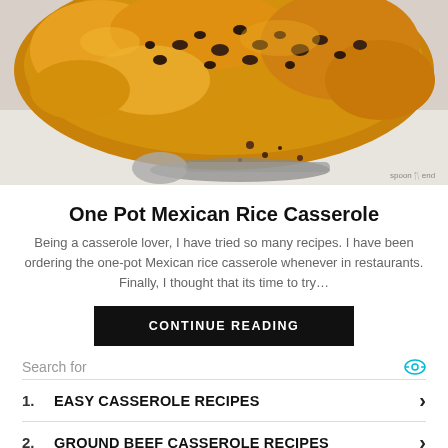[Figure (photo): Close-up photo of a cheesy ground beef and rice casserole on a white plate with a spoon. The dish appears saucy and topped with melted cheese.]
One Pot Mexican Rice Casserole
Being a casserole lover, I have tried so many recipes. I have been ordering the one-pot Mexican rice casserole whenever in restaurants. Finally, I thought that its time to try…
CONTINUE READING
Search for
1. EASY CASSEROLE RECIPES
2. GROUND BEEF CASSEROLE RECIPES